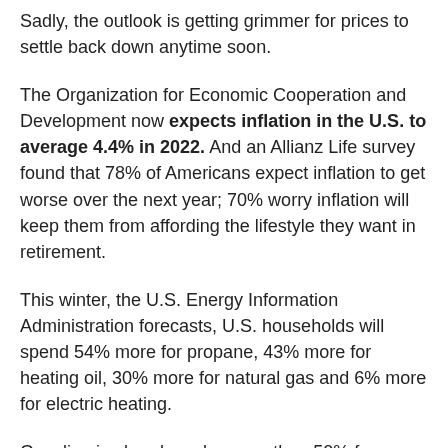Sadly, the outlook is getting grimmer for prices to settle back down anytime soon.
The Organization for Economic Cooperation and Development now expects inflation in the U.S. to average 4.4% in 2022. And an Allianz Life survey found that 78% of Americans expect inflation to get worse over the next year; 70% worry inflation will keep them from affording the lifestyle they want in retirement.
This winter, the U.S. Energy Information Administration forecasts, U.S. households will spend 54% more for propane, 43% more for heating oil, 30% more for natural gas and 6% more for electric heating.
Gasoline is already up by more than 50% from a year ago;